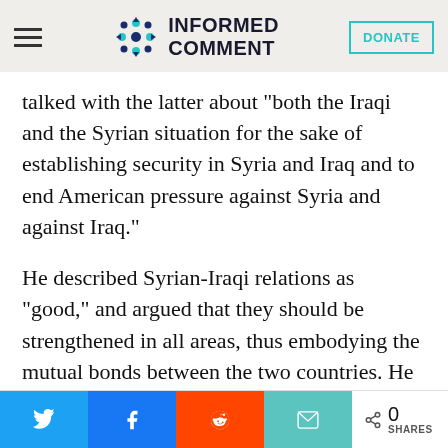Informed Comment
talked with the latter about "both the Iraqi and the Syrian situation for the sake of establishing security in Syria and Iraq and to end American pressure against Syria and against Iraq."
He described Syrian-Iraqi relations as “good,” and argued that they should be strengthened in all areas, thus embodying the mutual bonds between the two countries. He said at a news conference attended by a
Share bar: Twitter, Facebook, Reddit, Email | 0 SHARES